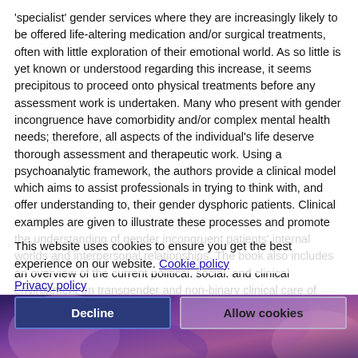'specialist' gender services where they are increasingly likely to be offered life-altering medication and/or surgical treatments, often with little exploration of their emotional world. As so little is yet known or understood regarding this increase, it seems precipitous to proceed onto physical treatments before any assessment work is undertaken. Many who present with gender incongruence have comorbidity and/or complex mental health needs; therefore, all aspects of the individual's life deserve thorough assessment and therapeutic work. Using a psychoanalytic framework, the authors provide a clinical model which aims to assist professionals in trying to think with, and offer understanding to, their gender dysphoric patients. Clinical examples are given to illustrate these processes and promote the understanding of gender incongruent patients' internal worlds and interpersonal relationships. The book also includes an overview of the current political, social, and clinical environment on transgender and non-binary clinical care of trans identifying individuals
This website uses cookies to ensure you get the best experience on our website. Cookie policy
Privacy policy
Decline
Allow cookies
[Figure (photo): Partial view of a colorful blurred background image at the bottom of the page, partially obscured by cookie consent overlay buttons.]